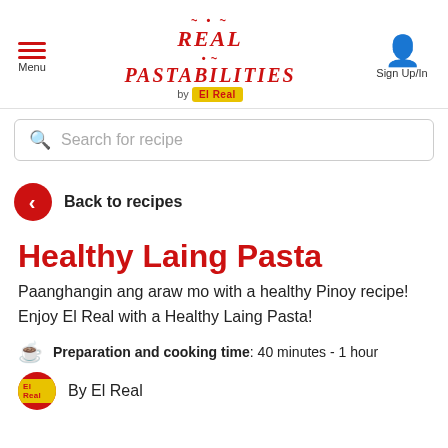Menu · REAL PASTABILITIES by El Real · Sign Up/In
Search for recipe
Back to recipes
Healthy Laing Pasta
Paanghangin ang araw mo with a healthy Pinoy recipe! Enjoy El Real with a Healthy Laing Pasta!
Preparation and cooking time: 40 minutes - 1 hour
By El Real